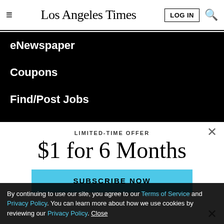Los Angeles Times | LOG IN | search
eNewspaper
Coupons
Find/Post Jobs
Place an Ad
Media Kit: Why the L.
LIMITED-TIME OFFER
$1 for 6 Months
SUBSCRIBE NOW
By continuing to use our site, you agree to our Terms of Service and Privacy Policy. You can learn more about how we use cookies by reviewing our Privacy Policy. Close